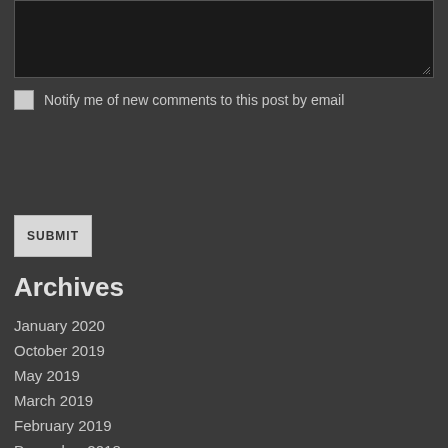[Figure (screenshot): Dark-colored textarea input box with resize handle at bottom right corner]
Notify me of new comments to this post by email
SUBMIT
Archives
January 2020
October 2019
May 2019
March 2019
February 2019
December 2018
November 2018
October 2018